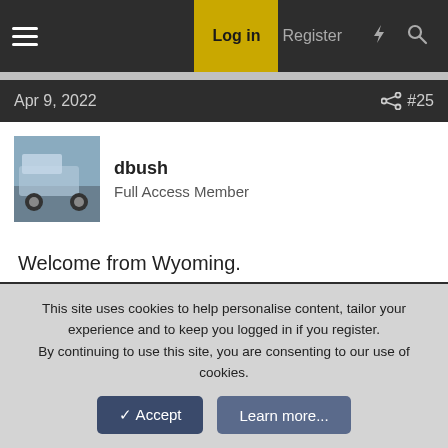Log in  Register
Apr 9, 2022  #25
dbush
Full Access Member
Welcome from Wyoming.
Jun 27, 2022  #26
Khayward
Junior Member
This site uses cookies to help personalise content, tailor your experience and to keep you logged in if you register.
By continuing to use this site, you are consenting to our use of cookies.